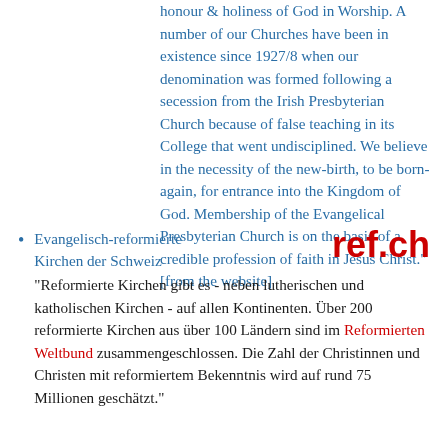honour & holiness of God in Worship. A number of our Churches have been in existence since 1927/8 when our denomination was formed following a secession from the Irish Presbyterian Church because of false teaching in its College that went undisciplined. We believe in the necessity of the new-birth, to be born-again, for entrance into the Kingdom of God. Membership of the Evangelical Presbyterian Church is on the basis of a credible profession of faith in Jesus Christ." [from the website]
Evangelisch-reformierte Kirchen der Schweiz
"Reformierte Kirchen gibt es - neben lutherischen und katholischen Kirchen - auf allen Kontinenten. Über 200 reformierte Kirchen aus über 100 Ländern sind im Reformierten Weltbund zusammengeschlossen. Die Zahl der Christinnen und Christen mit reformiertem Bekenntnis wird auf rund 75 Millionen geschätzt."